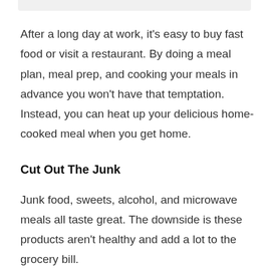After a long day at work, it's easy to buy fast food or visit a restaurant. By doing a meal plan, meal prep, and cooking your meals in advance you won't have that temptation. Instead, you can heat up your delicious home-cooked meal when you get home.
Cut Out The Junk
Junk food, sweets, alcohol, and microwave meals all taste great. The downside is these products aren't healthy and add a lot to the grocery bill.
Cutting these things from your diet completely